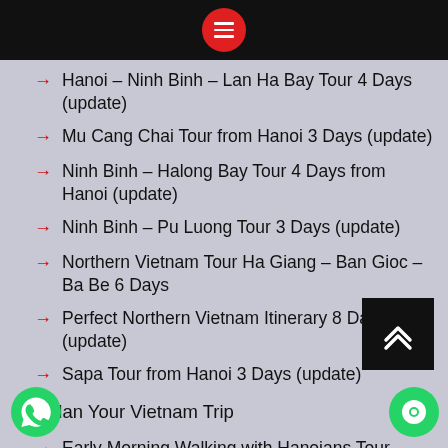Hanoi – Ninh Binh – Lan Ha Bay Tour 4 Days (update)
Mu Cang Chai Tour from Hanoi 3 Days (update)
Ninh Binh – Halong Bay Tour 4 Days from Hanoi (update)
Ninh Binh – Pu Luong Tour 3 Days (update)
Northern Vietnam Tour Ha Giang – Ban Gioc – Ba Be 6 Days
Perfect Northern Vietnam Itinerary 8 Days (update)
Sapa Tour from Hanoi 3 Days (update)
Plan Your Vietnam Trip
Early Morning Walking with Hanoians Tour
Northern Vietnam Loop Tours 12 days